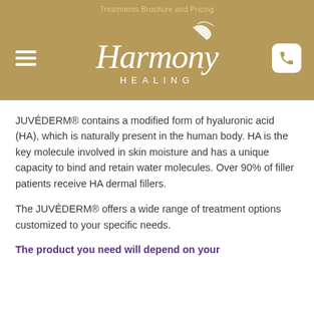Treatments Brochure and Pricing
[Figure (logo): Harmony Healing logo in white script on gold/tan background, with hamburger menu icon on left and phone icon on right]
JUVÉDERM® contains a modified form of hyaluronic acid (HA), which is naturally present in the human body. HA is the key molecule involved in skin moisture and has a unique capacity to bind and retain water molecules. Over 90% of filler patients receive HA dermal fillers.
The JUVÉDERM® offers a wide range of treatment options customized to your specific needs.
The product you need will depend on your